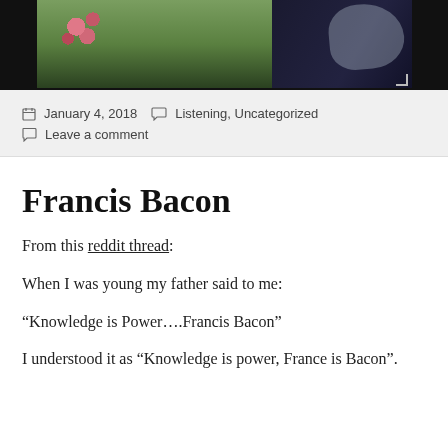[Figure (photo): Partial photo of a person outdoors with flowers and lace clothing visible, on dark background]
January 4, 2018   Listening, Uncategorized
Leave a comment
Francis Bacon
From this reddit thread:
When I was young my father said to me:
“Knowledge is Power….Francis Bacon”
I understood it as “Knowledge is power, France is Bacon”.